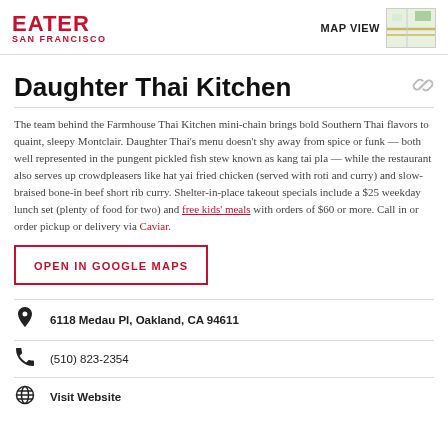EATER SAN FRANCISCO | MAP VIEW
Daughter Thai Kitchen
The team behind the Farmhouse Thai Kitchen mini-chain brings bold Southern Thai flavors to quaint, sleepy Montclair. Daughter Thai's menu doesn't shy away from spice or funk — both well represented in the pungent pickled fish stew known as kang tai pla — while the restaurant also serves up crowdpleasers like hat yai fried chicken (served with roti and curry) and slow-braised bone-in beef short rib curry. Shelter-in-place takeout specials include a $25 weekday lunch set (plenty of food for two) and free kids' meals with orders of $60 or more. Call in or order pickup or delivery via Caviar.
OPEN IN GOOGLE MAPS
6118 Medau Pl, Oakland, CA 94611
(510) 823-2354
Visit Website